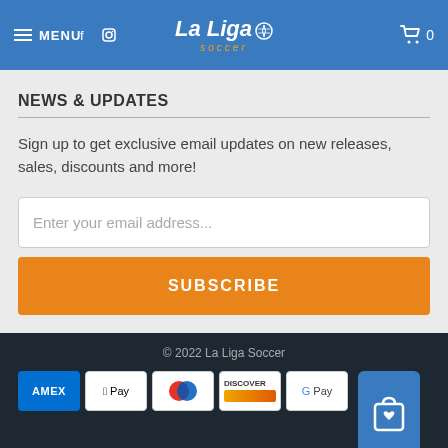MENU | La Liga Soccer | 0
NEWS & UPDATES
Sign up to get exclusive email updates on new releases, sales, discounts and more!
Enter your email address...
SUBSCRIBE
© 2022 La Liga Soccer
[Figure (other): Payment method icons: AMEX, Apple Pay, Diners Club, Discover, Google Pay, Mastercard, Shopify Pay, Visa]